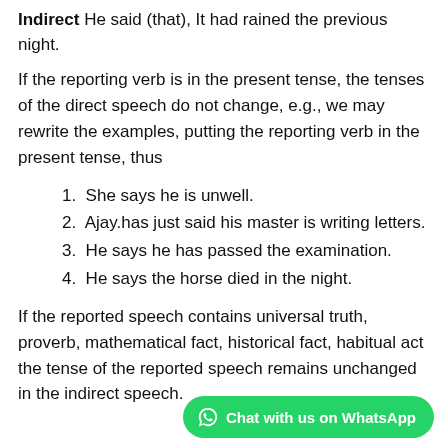Indirect He said (that), It had rained the previous night.
If the reporting verb is in the present tense, the tenses of the direct speech do not change, e.g., we may rewrite the examples, putting the reporting verb in the present tense, thus
1. She says he is unwell.
2. Ajay.has just said his master is writing letters.
3. He says he has passed the examination.
4. He says the horse died in the night.
If the reported speech contains universal truth, proverb, mathematical fact, historical fact, habitual act the tense of the reported speech remains unchanged in the indirect speech.